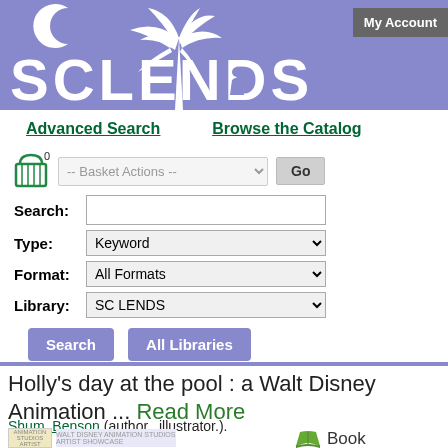[Figure (logo): SCLENDS library logo with palm tree and crescent moon on purple/blue background]
My Account
Advanced Search | Browse the Catalog
-- Basket Actions -- Go
Search: [text field] Type: Keyword | Format: All Formats | Library: SC LENDS
Search  All Libraries
Holly's day at the pool : a Walt Disney Animation ... Read More
Shum, Benson,(author,, illustrator.).
Book